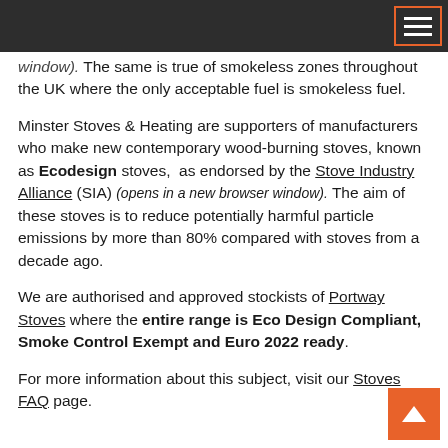[navigation bar with menu icon]
window). The same is true of smokeless zones throughout the UK where the only acceptable fuel is smokeless fuel.
Minster Stoves & Heating are supporters of manufacturers who make new contemporary wood-burning stoves, known as Ecodesign stoves, as endorsed by the Stove Industry Alliance (SIA) (opens in a new browser window). The aim of these stoves is to reduce potentially harmful particle emissions by more than 80% compared with stoves from a decade ago.
We are authorised and approved stockists of Portway Stoves where the entire range is Eco Design Compliant, Smoke Control Exempt and Euro 2022 ready.
For more information about this subject, visit our Stoves FAQ page.